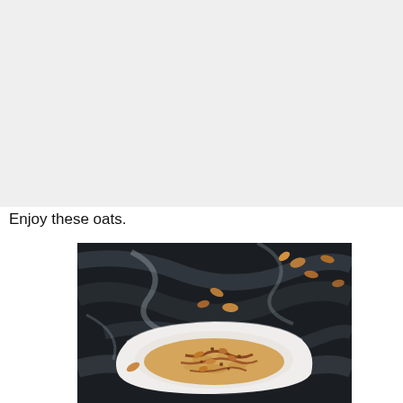[Figure (photo): Large light gray placeholder image area at the top of the page]
Enjoy these oats.
[Figure (photo): Top-down photo of a white bowl containing oats with toppings such as nuts and sauce, on a dark marble surface with scattered almonds]